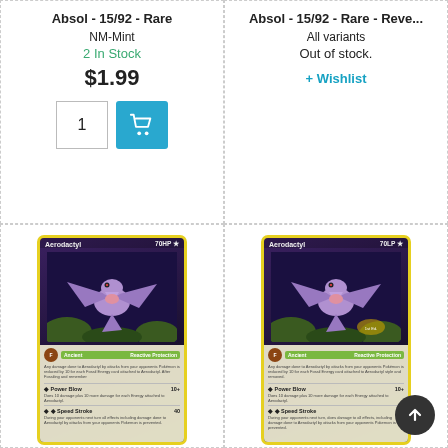Absol - 15/92 - Rare
NM-Mint
2 In Stock
$1.99
Absol - 15/92 - Rare - Reve...
All variants
Out of stock.
+ Wishlist
[Figure (photo): Pokemon card: Aerodactyl 70HP, showing moves Power Blow and Speed Stroke]
Aerodactyl - 1/92 - Holo R...
Lightly Played
[Figure (photo): Pokemon card: Aerodactyl 70HP, showing moves Power Blow and Speed Stroke, reverse holo variant]
Aerodactyl - 1/92 - Rare...
All variants